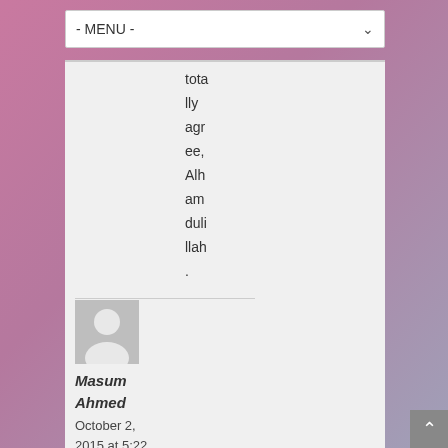- MENU -
totally agree, Alhamdulillah.
Masum Ahmed
October 2, 2015 at 5:22 am